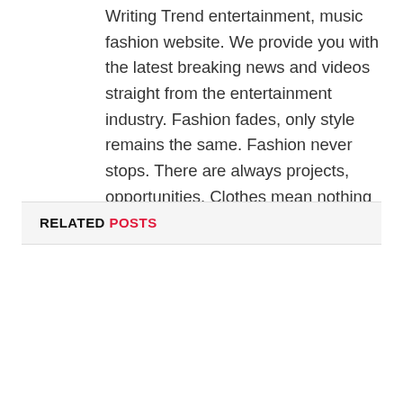Writing Trend entertainment, music fashion website. We provide you with the latest breaking news and videos straight from the entertainment industry. Fashion fades, only style remains the same. Fashion never stops. There are always projects, opportunities. Clothes mean nothing until someone lives in them.
RELATED POSTS